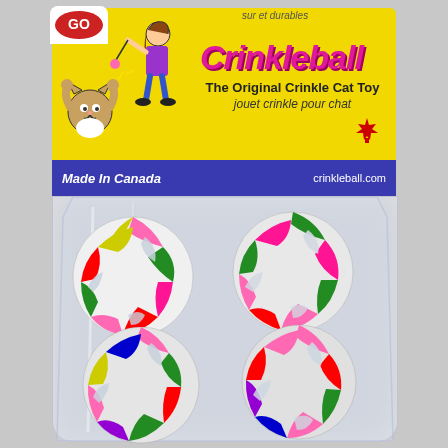[Figure (photo): Product packaging for Crinkleball cat toys. Yellow header label with cartoon illustration of a person playing with a cat, pink 'Crinkleball' brand name, subtitle 'The Original Crinkle Cat Toy / jouet crinkle pour chat', blue banner with 'Made In Canada' and 'crinkleball.com', and a clear plastic bag containing 4 colorful multi-colored yarn/crinkle balls.]